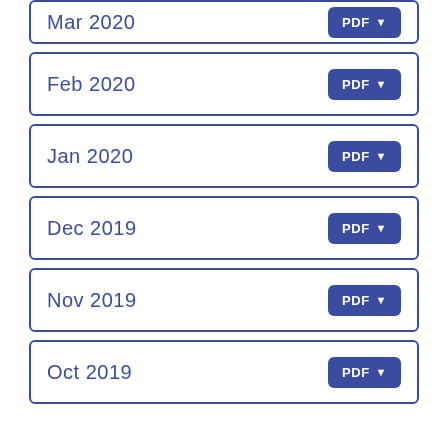Mar 2020 PDF
Feb 2020 PDF
Jan 2020 PDF
Dec 2019 PDF
Nov 2019 PDF
Oct 2019 PDF